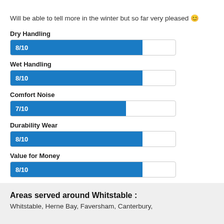Will be able to tell more in the winter but so far very pleased 😊
[Figure (bar-chart): Ratings]
Areas served around Whitstable :
Whitstable, Herne Bay, Faversham, Canterbury,